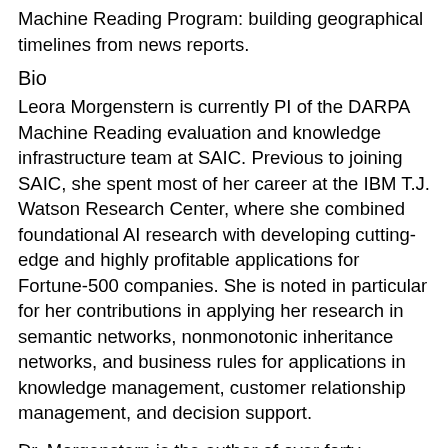Machine Reading Program: building geographical timelines from news reports.
Bio
Leora Morgenstern is currently PI of the DARPA Machine Reading evaluation and knowledge infrastructure team at SAIC. Previous to joining SAIC, she spent most of her career at the IBM T.J. Watson Research Center, where she combined foundational AI research with developing cutting-edge and highly profitable applications for Fortune-500 companies. She is noted in particular for her contributions in applying her research in semantic networks, nonmonotonic inheritance networks, and business rules for applications in knowledge management, customer relationship management, and decision support.
Dr. Morgenstern is the author of over forty scholarly publications and holds three patents, which have won several IBM awards due to their value to industry. She has served on the editorial boards of JAIR, AMAL and ETAI.